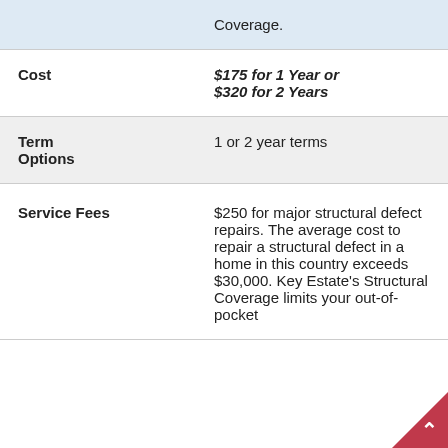|  |  |
| --- | --- |
|  | Coverage. |
| Cost | $175 for 1 Year or $320 for 2 Years |
| Term Options | 1 or 2 year terms |
| Service Fees | $250 for major structural defect repairs. The average cost to repair a structural defect in a home in this country exceeds $30,000. Key Estate's Structural Coverage limits your out-of-pocket |